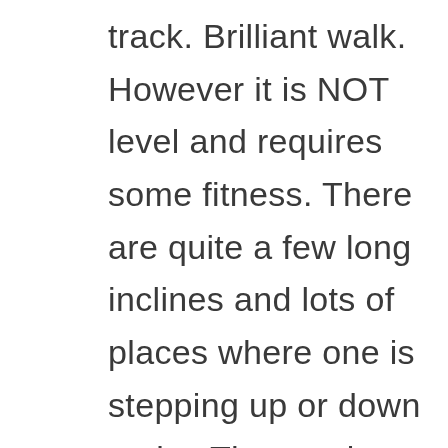track. Brilliant walk. However it is NOT level and requires some fitness. There are quite a few long inclines and lots of places where one is stepping up or down rocks. The creek crossing at the turn round point furthest from the dam wall is a bit tricky and would not be possible with more rain than we had last night (9mm). I would grade the track as medium. Many